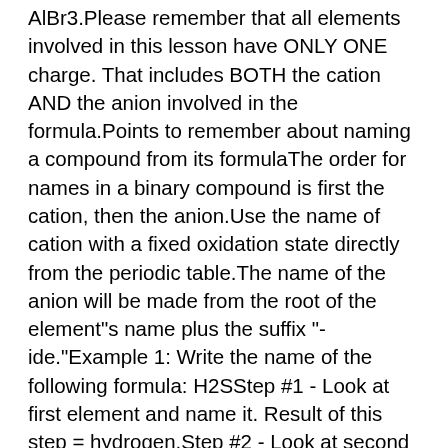AlBr3.Please remember that all elements involved in this lesson have ONLY ONE charge. That includes BOTH the cation AND the anion involved in the formula.Points to remember about naming a compound from its formulaThe order for names in a binary compound is first the cation, then the anion.Use the name of cation with a fixed oxidation state directly from the periodic table.The name of the anion will be made from the root of the element"s name plus the suffix "-ide."Example 1: Write the name of the following formula: H2SStep #1 - Look at first element and name it. Result of this step = hydrogen.Step #2 - Look at second element. Use root of its full name ( which is sulf-) plus the ending "-ide." Result of this step = sulfide.These two steps give the full name of H2S. Notice that the presence of the subscript is ignored. There are other types of binary compounds where you must pay attention to the subscript. Those compounds involve cations with